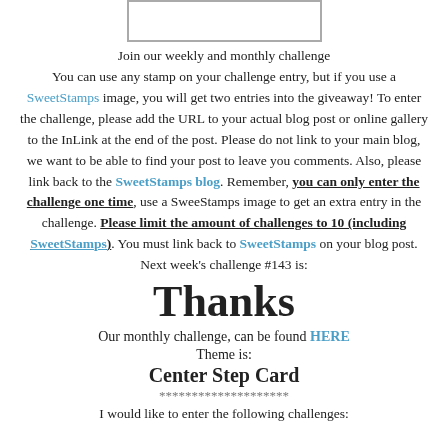[Figure (other): A rectangular bordered image placeholder at the top of the page]
Join our weekly and monthly challenge
You can use any stamp on your challenge entry, but if you use a SweetStamps image, you will get two entries into the giveaway! To enter the challenge, please add the URL to your actual blog post or online gallery to the InLink at the end of the post. Please do not link to your main blog, we want to be able to find your post to leave you comments. Also, please link back to the SweetStamps blog. Remember, you can only enter the challenge one time, use a SweeStamps image to get an extra entry in the challenge. Please limit the amount of challenges to 10 (including SweetStamps). You must link back to SweetStamps on your blog post.
Next week's challenge #143 is:
Thanks
Our monthly challenge, can be found HERE
Theme is:
Center Step Card
********************
I would like to enter the following challenges: